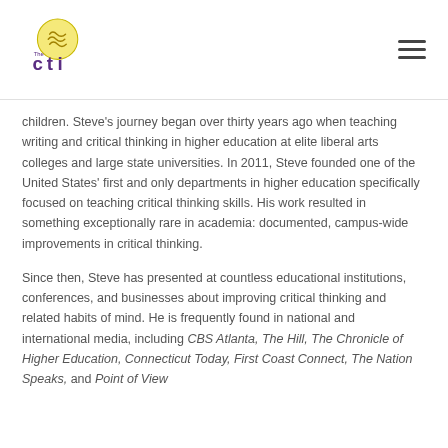CTI logo and navigation
children. Steve's journey began over thirty years ago when teaching writing and critical thinking in higher education at elite liberal arts colleges and large state universities. In 2011, Steve founded one of the United States' first and only departments in higher education specifically focused on teaching critical thinking skills. His work resulted in something exceptionally rare in academia: documented, campus-wide improvements in critical thinking.
Since then, Steve has presented at countless educational institutions, conferences, and businesses about improving critical thinking and related habits of mind. He is frequently found in national and international media, including CBS Atlanta, The Hill, The Chronicle of Higher Education, Connecticut Today, First Coast Connect, The Nation Speaks, and Point of View